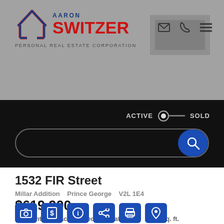[Figure (logo): Aaron Switzer Personal Real Estate Corporation logo with house icon, blue and red text]
[Figure (screenshot): Website navigation bar with search toggle (ACTIVE/SOLD) and search bar with blue search button]
1532 FIR Street
Millar Addition   Prince George   V2L 1E4
$619,900
Residential Detached  beds: 3  baths: 3.0  2,670 sq. ft.  built: 1924
[Figure (other): Action icon buttons: camera, dollar sign, info, share, print, location pin — all on blue square backgrounds]